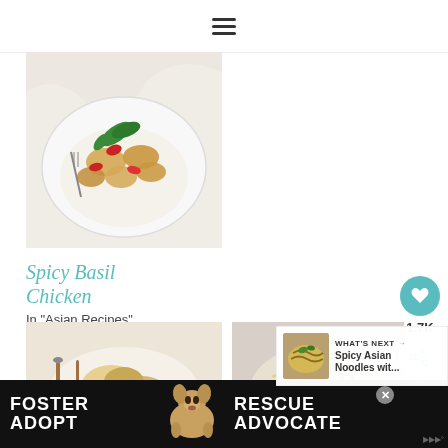☰ (hamburger menu icon)
[Figure (photo): Overhead close-up of spicy basil chicken dish in a white square bowl with green basil leaves, red peppers, and chicken pieces over white rice on a marble surface]
Spicy Basil Chicken
In "Asian Recipes"
[Figure (photo): Food photo showing a creamy dish with chopsticks on a light surface]
[Figure (photo): Food photo showing noodle dish with green toppings and chopsticks]
[Figure (photo): What's Next thumbnail - Spicy Asian Noodles]
WHAT'S NEXT → Spicy Asian Noodles wit...
[Figure (photo): Advertisement banner: FOSTER ADOPT / RESCUE ADVOCATE with beagle dog image]